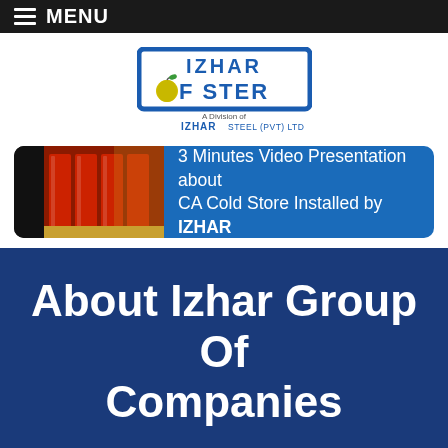MENU
[Figure (logo): Izhar Foster logo — blue bordered box with IZHAR FOSTER text and yellow apple icon, subtitle: A Division of IZHAR STEEL (PVT) LTD]
[Figure (photo): Banner showing a cold storage facility with red refrigeration units, overlaid with blue background and text: 3 Minutes Video Presentation about CA Cold Store Installed by IZHAR]
About Izhar Group Of Companies